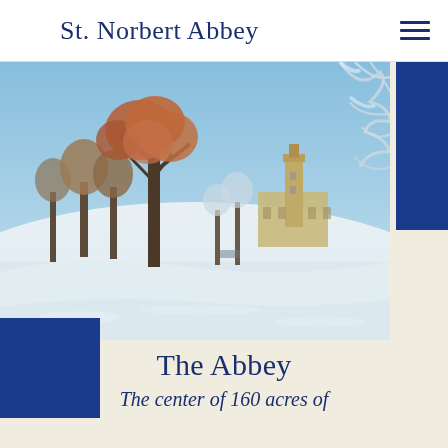St. Norbert Abbey
[Figure (photo): Winter landscape photo of St. Norbert Abbey campus with snow-covered ground, bare and rust-colored trees, and the abbey church tower visible in the background under a blue sky.]
The Abbey
The center of 160 acres of